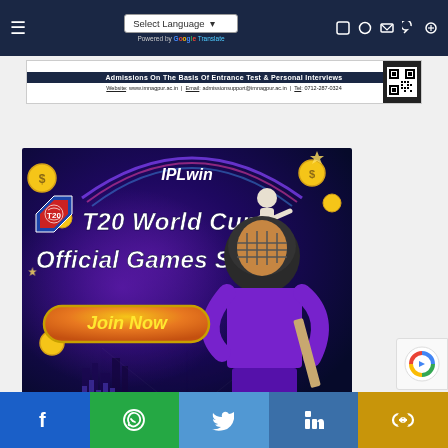Select Language | Powered by Google Translate
[Figure (photo): Advertisement banner: Admissions On The Basis Of Entrance Test & Personal Interviews. Website: www.imnagpur.ac.in | Email: admissionsupport@imnagpur.ac.in | Tel: 0712-287-0324]
[Figure (photo): IPLwin T20 World Cup Official Games Site advertisement with Join Now button and cricket player image]
Social share bar: Facebook, WhatsApp, Twitter, LinkedIn, Copy Link